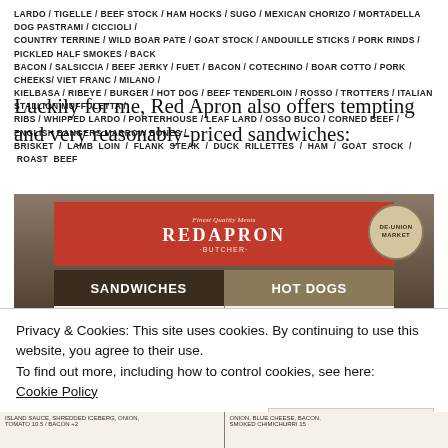LARDO / TIGELLE / BEEF STOCK / HAM HOCKS / SUGO / MEXICAN CHORIZO / MORTADELLA DOG PASTRAMI / CICCIOLI / COUNTRY TERRINE / WILD BOAR PATE / GOAT STOCK / ANDOUILLE STICKS / PORK RINDS / PICKLED HALF SMOKES / BACK BACON / SALSICCIA / BEEF JERKY / FUET / BACON / COTECHINO / BOAR COTTO / PORK CHEEKS/ VIET FRANC / MILANO / KIELBASA / RIBEYE / BURGER / HOT DOG / BEEF TENDERLOIN / ROSSO / TROTTERS / ITALIAN STALLION MUFFULETTA / RIBS / WHIPPED LARDO / PORTERHOUSE / LEAF LARD / OSSO BUCO / CORNED BEEF / ENGLISH BANGERS MARROW BONES / BRISKET / LAMB LOIN / FLANK STEAK / DUCK RILLETTES / HAM / GOAT STOCK / ROAST BEEF
Luckily for me, Red Apron also offers tempting and very reasonably-priced sandwiches:
[Figure (photo): Photo of Red Apron Butcher menu board showing SANDWICHES and HOT DOGS sections, with PORHSTRAMI and ALL BEEF DOG items listed]
Privacy & Cookies: This site uses cookies. By continuing to use this website, you agree to their use.
To find out more, including how to control cookies, see here:
Cookie Policy
Close and accept